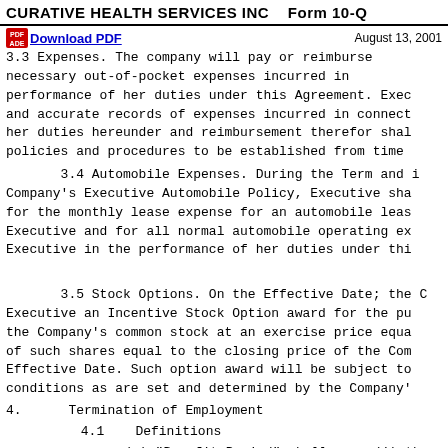CURATIVE HEALTH SERVICES INC   Form 10-Q
3.3 Expenses. The company will pay or reimburse necessary out-of-pocket expenses incurred in performance of her duties under this Agreement. Executive shall maintain and accurate records of expenses incurred in connection with her duties hereunder and reimbursement therefor shall be subject to policies and procedures to be established from time
3.4 Automobile Expenses. During the Term and in accordance with Company's Executive Automobile Policy, Executive shall be reimbursed for the monthly lease expense for an automobile leased or owned by Executive and for all normal automobile operating expenses incurred by Executive in the performance of her duties under this
3.5 Stock Options. On the Effective Date; the Company shall grant Executive an Incentive Stock Option award for the purchase of shares of the Company's common stock at an exercise price equal to the fair value of such shares equal to the closing price of the Company's stock on the Effective Date. Such option award will be subject to and conditions as are set and determined by the Company'
4.      Termination of Employment
4.1     Definitions
(a) "Benefit Period" shall mean (i) the